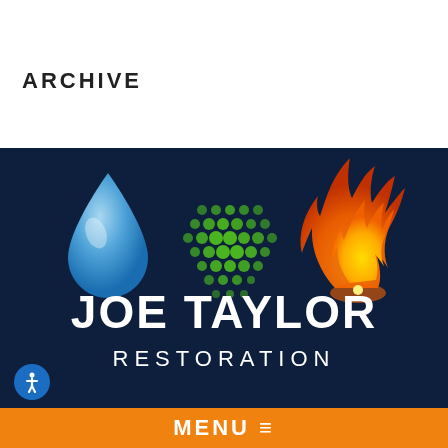ARCHIVE
[Figure (logo): Joe Taylor Restoration logo with water drop, green dot pattern, and flame icons on dark navy background, with company name text below]
MENU =